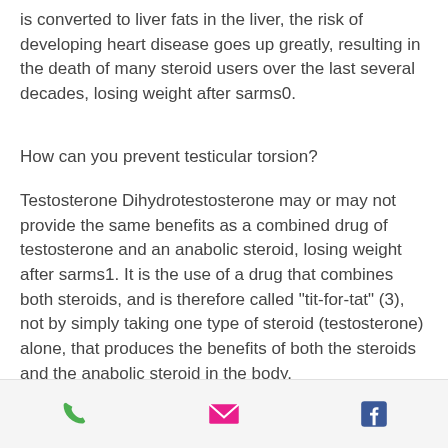is converted to liver fats in the liver, the risk of developing heart disease goes up greatly, resulting in the death of many steroid users over the last several decades, losing weight after sarms0.
How can you prevent testicular torsion?
Testosterone Dihydrotestosterone may or may not provide the same benefits as a combined drug of testosterone and an anabolic steroid, losing weight after sarms1. It is the use of a drug that combines both steroids, and is therefore called "tit-for-tat" (3), not by simply taking one type of steroid (testosterone) alone, that produces the benefits of both the steroids and the anabolic steroid in the body.
[Figure (infographic): Footer bar with three icons: green phone icon, pink/magenta email envelope icon, blue Facebook icon]